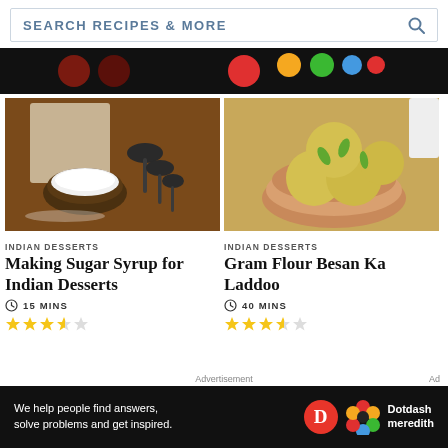SEARCH RECIPES & MORE
[Figure (photo): Advertisement banner with colorful dots on black background]
[Figure (photo): Measuring spoons with white sugar on wooden table]
[Figure (photo): Yellow besan laddoo balls in a wooden bowl on burlap]
INDIAN DESSERTS
Making Sugar Syrup for Indian Desserts
15 MINS
INDIAN DESSERTS
Gram Flour Besan Ka Laddoo
40 MINS
Advertisement
[Figure (photo): Dotdash Meredith advertisement banner: We help people find answers, solve problems and get inspired.]